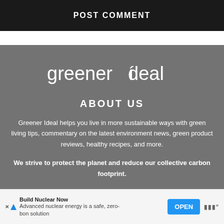POST COMMENT
[Figure (logo): Greener Ideal logo in white text on gray background]
ABOUT US
Greener Ideal helps you live in more sustainable ways with green living tips, commentary on the latest environment news, green product reviews, healthy recipes, and more.
We strive to protect the planet and reduce our collective carbon footprint.
Build Nuclear Now
Advanced nuclear energy is a safe, zero-carbon solution